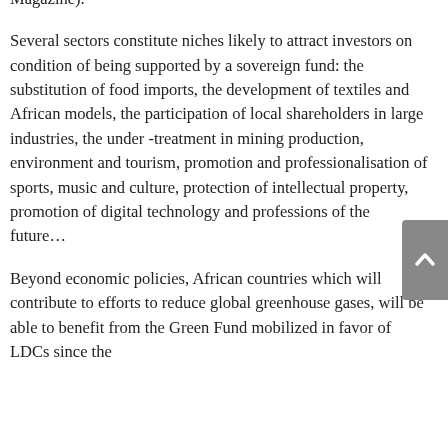'low-carbon' industry, preventing the surcharge on products through carbon taxation by rise. (January 2020 Growth Magazine).
Several sectors constitute niches likely to attract investors on condition of being supported by a sovereign fund: the substitution of food imports, the development of textiles and African models, the participation of local shareholders in large industries, the under -treatment in mining production, environment and tourism, promotion and professionalisation of sports, music and culture, protection of intellectual property, promotion of digital technology and professions of the future…
Beyond economic policies, African countries which will contribute to efforts to reduce global greenhouse gases, will be able to benefit from the Green Fund mobilized in favor of LDCs since the